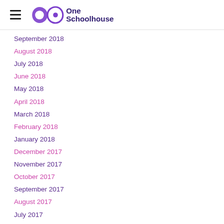One Schoolhouse
September 2018
August 2018
July 2018
June 2018
May 2018
April 2018
March 2018
February 2018
January 2018
December 2017
November 2017
October 2017
September 2017
August 2017
July 2017
June 2017
May 2017
April 2017
March 2017